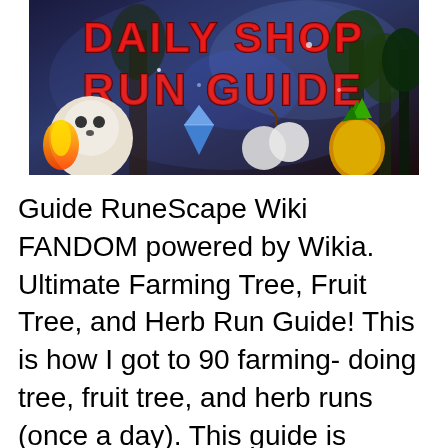[Figure (illustration): Game thumbnail banner showing 'DAILY SHOP RUN GUIDE' text in red stone/brick lettering with fantasy game items including a skull, gems, fruit, and foliage against a mystical background]
Guide RuneScape Wiki FANDOM powered by Wikia. Ultimate Farming Tree, Fruit Tree, and Herb Run Guide! This is how I got to 90 farming- doing tree, fruit tree, and herb runs (once a day). This guide is designed for higher leveled players (60-75 farming+), but the locations of the patches can be helpful for any leveled player, just change the seeds used to the best at your current level., RuneScape , sometimes referred to as RuneScape 3 ,